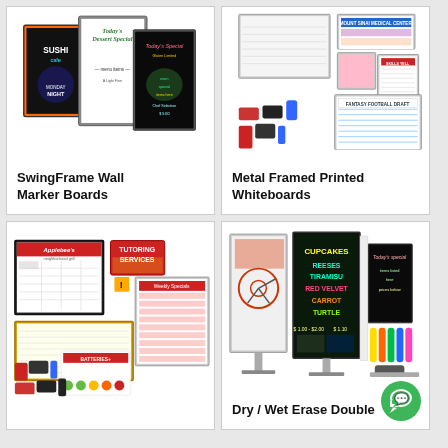[Figure (photo): SwingFrame Wall Marker Boards product image showing multiple framed marker boards with menus and specials]
SwingFrame Wall Marker Boards
[Figure (photo): Metal Framed Printed Whiteboards product image showing various printed whiteboards with schedules and markers]
Metal Framed Printed Whiteboards
[Figure (photo): Printed whiteboard product image showing branded marker boards with tutoring services and schedule boards]
[Figure (photo): Dry / Wet Erase Double sided boards showing floor stand boards with cupcakes menu and chalkboard displays]
Dry / Wet Erase Double